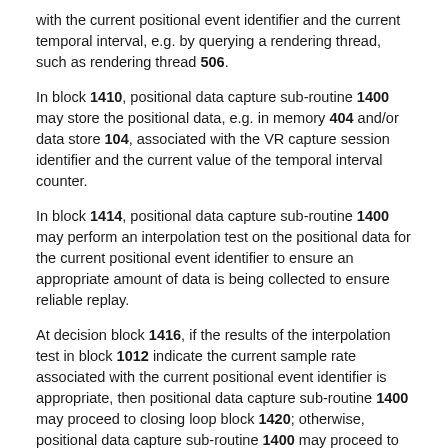with the current positional event identifier and the current temporal interval, e.g. by querying a rendering thread, such as rendering thread 506.
In block 1410, positional data capture sub-routine 1400 may store the positional data, e.g. in memory 404 and/or data store 104, associated with the VR capture session identifier and the current value of the temporal interval counter.
In block 1414, positional data capture sub-routine 1400 may perform an interpolation test on the positional data for the current positional event identifier to ensure an appropriate amount of data is being collected to ensure reliable replay.
At decision block 1416, if the results of the interpolation test in block 1012 indicate the current sample rate associated with the current positional event identifier is appropriate, then positional data capture sub-routine 1400 may proceed to closing loop block 1420; otherwise, positional data capture sub-routine 1400 may proceed to block 1418.